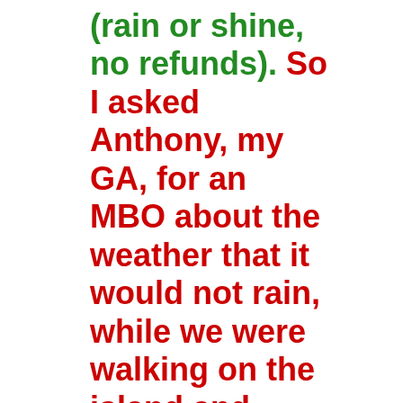(rain or shine, no refunds). So I asked Anthony, my GA, for an MBO about the weather that it would not rain, while we were walking on the island and touring the homes. We nevertheless were wearing boots, rain coats and carrying umbrellas. After no rain